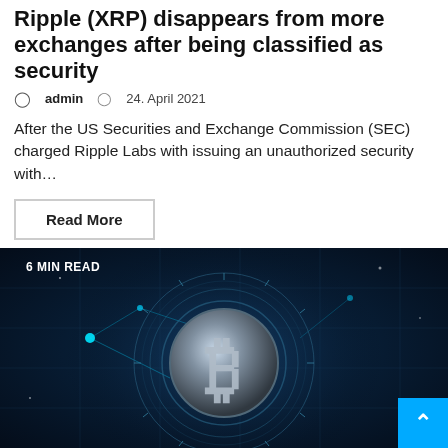Ripple (XRP) disappears from more exchanges after being classified as security
admin   24. April 2021
After the US Securities and Exchange Commission (SEC) charged Ripple Labs with issuing an unauthorized security with…
Read More
[Figure (photo): Dark blue digital background with a glowing Bitcoin symbol (B) surrounded by circuit-like rings and network lines. Badge reads '6 MIN READ' in top-left corner. Blue back-to-top arrow button in bottom-right.]